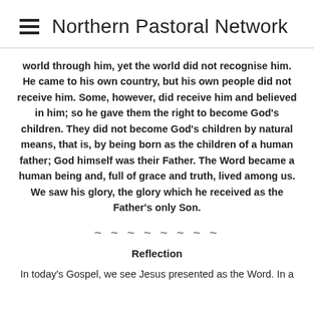Northern Pastoral Network
world through him, yet the world did not recognise him. He came to his own country, but his own people did not receive him. Some, however, did receive him and believed in him; so he gave them the right to become God's children. They did not become God's children by natural means, that is, by being born as the children of a human father; God himself was their Father. The Word became a human being and, full of grace and truth, lived among us. We saw his glory, the glory which he received as the Father's only Son.
~ ~ ~ ~ ~ ~ ~ ~
Reflection
In today's Gospel, we see Jesus presented as the Word. In a